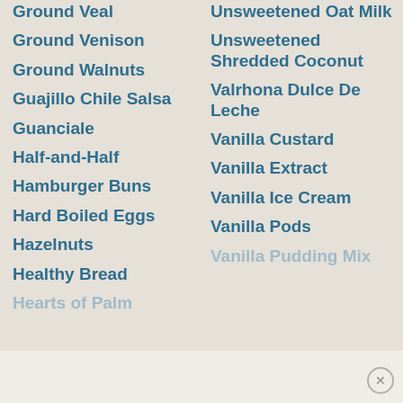Ground Veal
Ground Venison
Ground Walnuts
Guajillo Chile Salsa
Guanciale
Half-and-Half
Hamburger Buns
Hard Boiled Eggs
Hazelnuts
Healthy Bread
Hearts of Palm
Unsweetened Oat Milk
Unsweetened Shredded Coconut
Valrhona Dulce De Leche
Vanilla Custard
Vanilla Extract
Vanilla Ice Cream
Vanilla Pods
Vanilla Pudding Mix